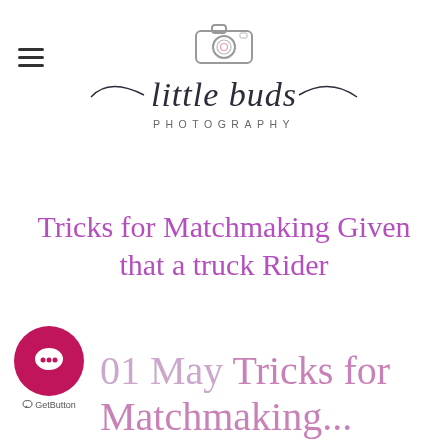[Figure (logo): Little Buds Photography logo with camera icon, script text 'little buds' and 'PHOTOGRAPHY' below]
Tricks for Matchmaking Given that a truck Rider
[Figure (other): GetButton chat widget - pink circle with speech bubble icon and 'GetButton' label below]
01 May Tricks for Matchmaking...